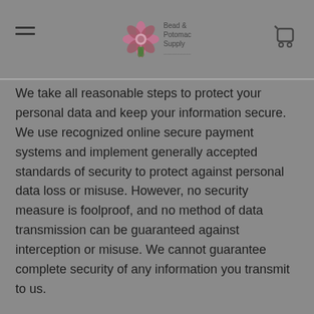Bead & Potomac Supply
We take all reasonable steps to protect your personal data and keep your information secure.  We use recognized online secure payment systems and implement generally accepted standards of security to protect against personal data loss or misuse.  However, no security measure is foolproof, and no method of data transmission can be guaranteed against interception or misuse.  We cannot guarantee complete security of any information you transmit to us.
By consent to this Privacy Policy, you acknowledge that your personal data may be available, via the internet, around the world. We cannot prevent the use or misuse of your data by other parties.
We will notify you of promptly any known breach of our